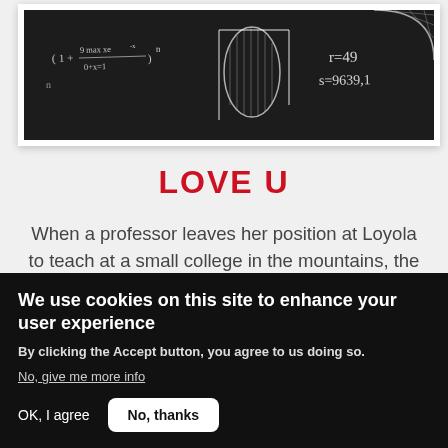[Figure (photo): Chalkboard with mathematical formulas written in white chalk, including an expression with exponents and variables, a shape drawing, and r=49, s=9639.1]
LOVE U
When a professor leaves her position at Loyola to teach at a small college in the mountains, the last thing she expected to find was love.
We use cookies on this site to enhance your user experience
By clicking the Accept button, you agree to us doing so.
No, give me more info
OK, I agree
No, thanks